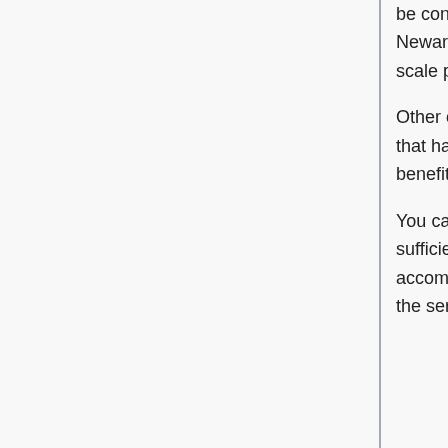be configured to use an alternative port to connect to Freenode IRC. The Newark datacenter would be closer and doesn't block ports. However, a large-scale power outage could affect both Pittsburgh and New Jersey.
Other options are possible; for example Digital Ocean has a $5/month plan that has less horsepower but should still be sufficient for our needs. The main benefit is that costs would be halved again.
You can add your suggestions in this section. Note that web hosting is not sufficient; we need a virtual private server (VPS) or dedicated server to accommodate our mailing lists and IRC bot. Since we've been very happy with the service we've gotten from Linode and